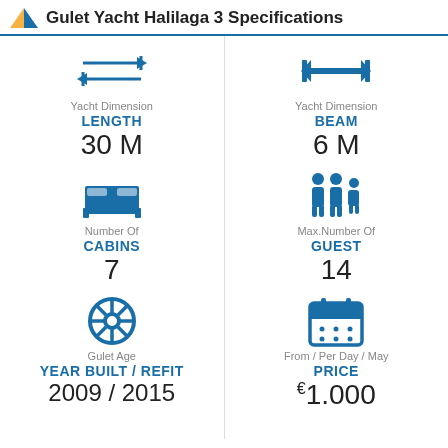Gulet Yacht Halilaga 3 Specifications
[Figure (infographic): Yacht specifications infographic with two columns. Left column: LENGTH 30 M, CABINS 7, YEAR BUILT / REFIT 2009 / 2015. Right column: BEAM 6 M, Max.Number Of GUEST 14, From / Per Day / May PRICE €1.000]
Yacht Dimension
LENGTH
30 M
Yacht Dimension
BEAM
6 M
Number Of
CABINS
7
Max.Number Of
GUEST
14
Gulet Age
YEAR BUILT / REFIT
2009 / 2015
From / Per Day / May
PRICE
€1.000